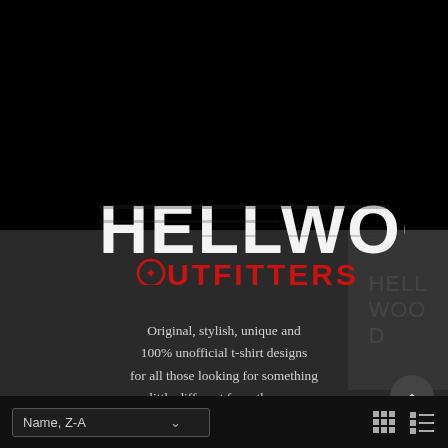[Figure (logo): Hellwood Outfitters logo — distressed white block lettering 'HELLWOOD' above red 'OUTFITTERS' text with a star-in-circle emblem, on a dark torn background]
Original, stylish, unique and 100% unofficial t-shirt designs for all those looking for something a little different from the norm.
E-Mail: contact@hellwoodoutfitters.com
Name, Z-A